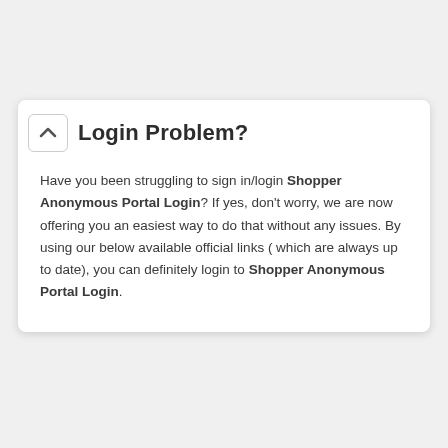Login Problem?
Have you been struggling to sign in/login Shopper Anonymous Portal Login? If yes, don't worry, we are now offering you an easiest way to do that without any issues. By using our below available official links ( which are always up to date), you can definitely login to Shopper Anonymous Portal Login.